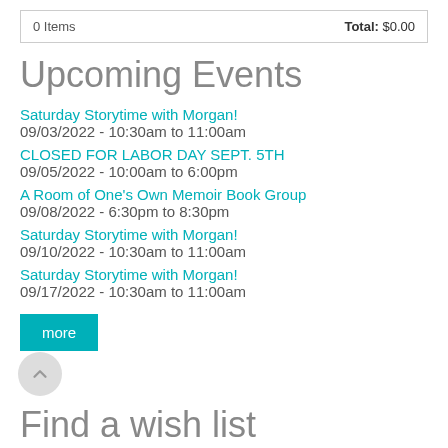0 Items   Total: $0.00
Upcoming Events
Saturday Storytime with Morgan!
09/03/2022 - 10:30am to 11:00am
CLOSED FOR LABOR DAY SEPT. 5TH
09/05/2022 - 10:00am to 6:00pm
A Room of One's Own Memoir Book Group
09/08/2022 - 6:30pm to 8:30pm
Saturday Storytime with Morgan!
09/10/2022 - 10:30am to 11:00am
Saturday Storytime with Morgan!
09/17/2022 - 10:30am to 11:00am
more
Find a wish list